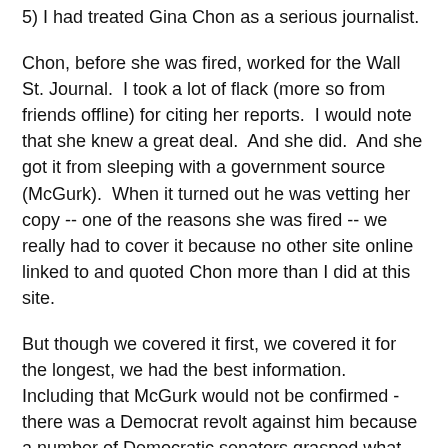5) I had treated Gina Chon as a serious journalist.
Chon, before she was fired, worked for the Wall St. Journal.  I took a lot of flack (more so from friends offline) for citing her reports.  I would note that she knew a great deal.  And she did.  And she got it from sleeping with a government source (McGurk).  When it turned out he was vetting her copy -- one of the reasons she was fired -- we really had to cover it because no other site online linked to and quoted Chon more than I did at this site.
But though we covered it first, we covered it for the longest, we had the best information.  Including that McGurk would not be confirmed - there was a Democrat revolt against him because a number of Democratic senators grasped what sending McGurk over as Ambassador to Iraq would mean to women in Iraq and that group of senators -- Barack knows who they are -- are not real happy that after they refused to confirm McGurk, Barack still sent him overseas.
We had a ton of ways to cover McGurk, we were honestly just getting started.  We were even going to delve into his (non-sexual) relationship with Hillary Clinton -- something